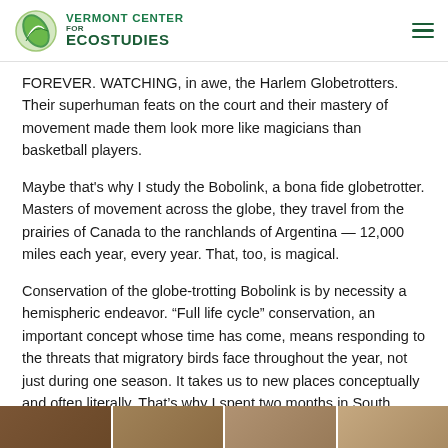Vermont Center for EcoStudies
FOREVER. WATCHING, in awe, the Harlem Globetrotters. Their superhuman feats on the court and their mastery of movement made them look more like magicians than basketball players.
Maybe that's why I study the Bobolink, a bona fide globetrotter. Masters of movement across the globe, they travel from the prairies of Canada to the ranchlands of Argentina — 12,000 miles each year, every year. That, too, is magical.
Conservation of the globe-trotting Bobolink is by necessity a hemispheric endeavor. “Full life cycle” conservation, an important concept whose time has come, means responding to the threats that migratory birds face throughout the year, not just during one season. It takes us to new places conceptually and often literally. That's why I spent two months in South America this fall, working with local conservation partners on a long-term conservation plan for this declining grassland bird magician.
[Figure (photo): A strip of partially visible photos along the bottom of the page, showing outdoor/field scenes.]